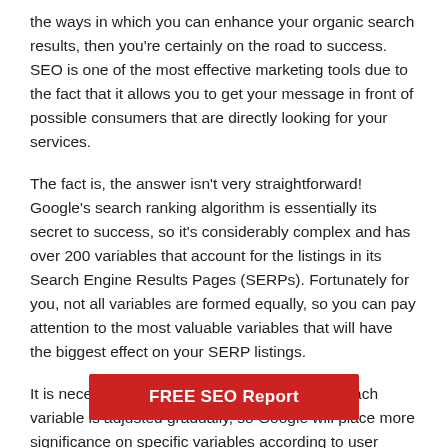the ways in which you can enhance your organic search results, then you're certainly on the road to success. SEO is one of the most effective marketing tools due to the fact that it allows you to get your message in front of possible consumers that are directly looking for your services.
The fact is, the answer isn't very straightforward! Google's search ranking algorithm is essentially its secret to success, so it's considerably complex and has over 200 variables that account for the listings in its Search Engine Results Pages (SERPs). Fortunately for you, not all variables are formed equally, so you can pay attention to the most valuable variables that will have the biggest effect on your SERP listings.
It is necessary to recognise that the weight of each variable is adjusted gradually, so Google will place more significance on specific variables according to user behaviour and how Google believes it can max… With this being said, most of the l… factors have been
[Figure (other): Red call-to-action button overlay with white text reading 'FREE SEO Report']